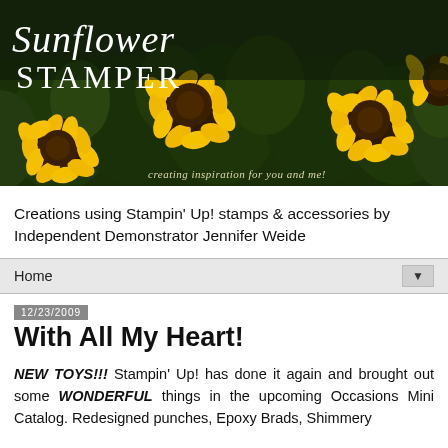[Figure (illustration): Sunflower Stamper blog header banner with sunflowers background, white text 'Sunflower STAMPER' and italic tagline 'creating inspiration for you and me!']
Creations using Stampin' Up! stamps & accessories by Independent Demonstrator Jennifer Weide
Home ▼
12/23/2009
With All My Heart!
NEW TOYS!!! Stampin' Up! has done it again and brought out some WONDERFUL things in the upcoming Occasions Mini Catalog. Redesigned punches, Epoxy Brads, Shimmery